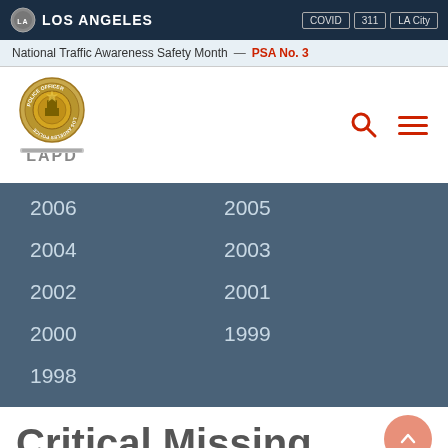LOS ANGELES | COVID | 311 | LA City
National Traffic Awareness Safety Month — PSA No. 3
[Figure (logo): LAPD badge logo with police officer badge and LAPD text below]
2006
2005
2004
2003
2002
2001
2000
1999
1998
Critical Missing Family NR21371n...